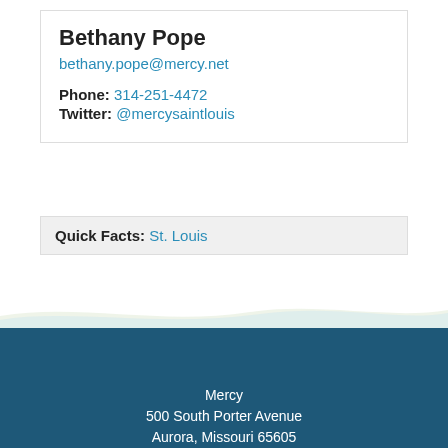Bethany Pope
bethany.pope@mercy.net
Phone: 314-251-4472
Twitter: @mercysaintlouis
Quick Facts: St. Louis
See All Media Contacts >
[Figure (logo): Mercy logo with cross icon in orange, teal, gold and red colors on dark blue background]
Mercy
500 South Porter Avenue
Aurora, Missouri 65605